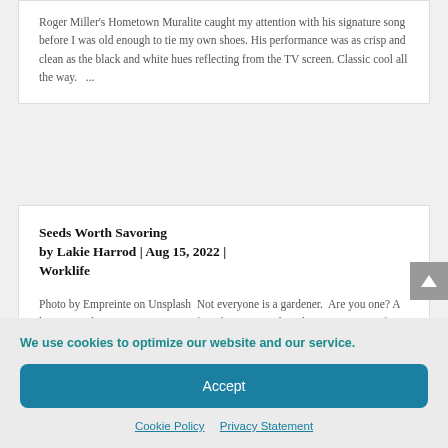Roger Miller's Hometown Muralite caught my attention with his signature song before I was old enough to tie my own shoes. His performance was as crisp and clean as the black and white hues reflecting from the TV screen. Classic cool all the way.   ...
Seeds Worth Savoring by Lakie Harrod | Aug 15, 2022 | Worklife
Photo by Empreinte on Unsplash  Not everyone is a gardener.  Are you one? A love to garden is a passion grown from being around gardening, or arising from a curiosity of nature's cornucopia bursting from
We use cookies to optimize our website and our service.
Accept
Cookie Policy   Privacy Statement